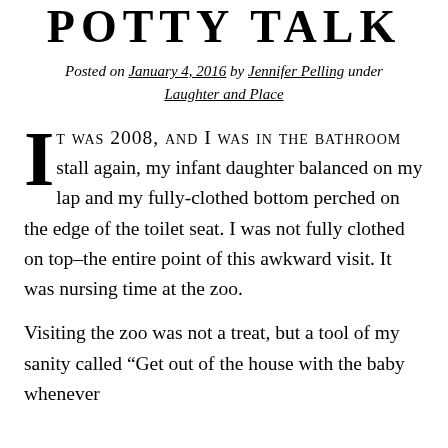POTTY TALK
Posted on January 4, 2016 by Jennifer Pelling under Laughter and Place
It was 2008, and I was in the bathroom stall again, my infant daughter balanced on my lap and my fully-clothed bottom perched on the edge of the toilet seat. I was not fully clothed on top–the entire point of this awkward visit. It was nursing time at the zoo.
Visiting the zoo was not a treat, but a tool of my sanity called “Get out of the house with the baby whenever